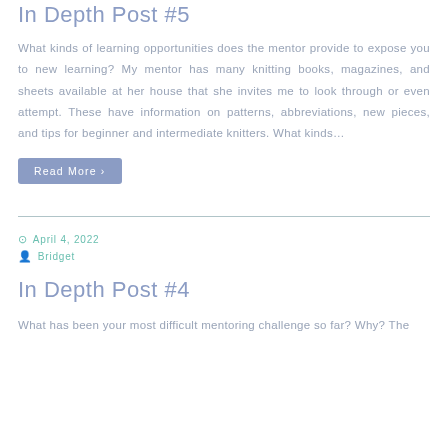In Depth Post #5
What kinds of learning opportunities does the mentor provide to expose you to new learning? My mentor has many knitting books, magazines, and sheets available at her house that she invites me to look through or even attempt. These have information on patterns, abbreviations, new pieces, and tips for beginner and intermediate knitters. What kinds...
Read More >
April 4, 2022
Bridget
In Depth Post #4
What has been your most difficult mentoring challenge so far? Why? The